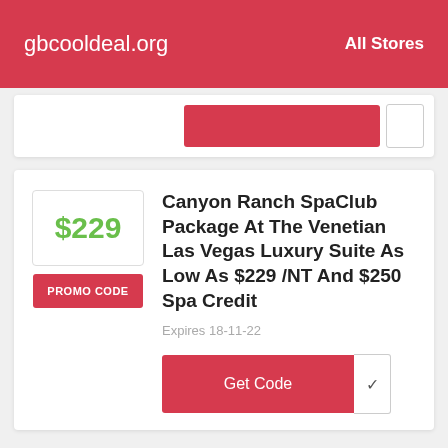gbcooldeal.org   All Stores
$229 PROMO CODE
Canyon Ranch SpaClub Package At The Venetian Las Vegas Luxury Suite As Low As $229 /NT And $250 Spa Credit
Expires 18-11-22
Get Code
Girls Vegas Getaway Only At